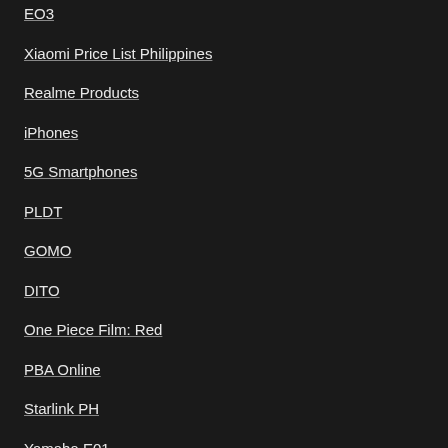EO3
Xiaomi Price List Philippines
Realme Products
iPhones
5G Smartphones
PLDT
GOMO
DITO
One Piece Film: Red
PBA Online
Starlink PH
Yamaha E01
Track National ID delivery